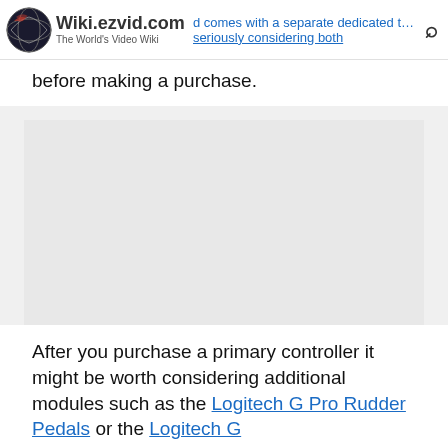Wiki.ezvid.com — The World's Video Wiki | [search icon] | d comes with a separate dedicated throttle | seriously considering both
before making a purchase.
[Figure (other): Large grey placeholder image block]
After you purchase a primary controller it might be worth considering additional modules such as the Logitech G Pro Rudder Pedals or the Logitech G...